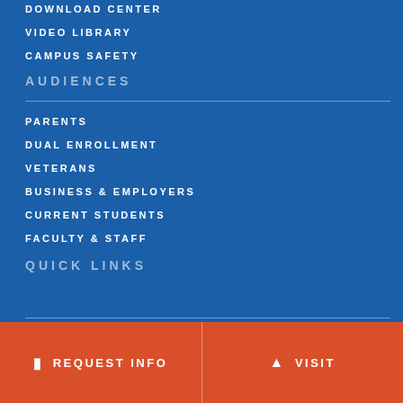DOWNLOAD CENTER
VIDEO LIBRARY
CAMPUS SAFETY
AUDIENCES
PARENTS
DUAL ENROLLMENT
VETERANS
BUSINESS & EMPLOYERS
CURRENT STUDENTS
FACULTY & STAFF
QUICK LINKS
REQUEST INFO   VISIT